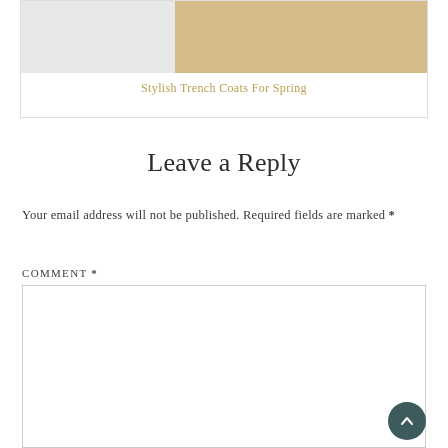[Figure (photo): Partial view of a trench coat product image with grey and tan/beige tones]
Stylish Trench Coats For Spring
Leave a Reply
Your email address will not be published. Required fields are marked *
COMMENT *